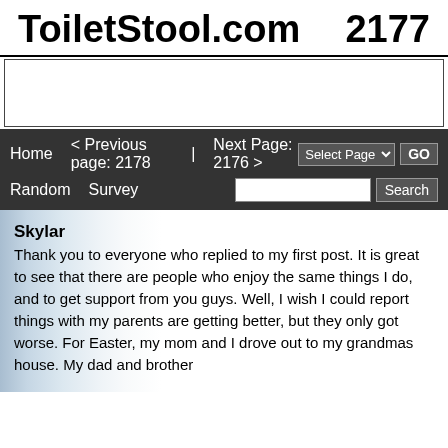ToiletStool.com  2177
[Figure (other): Advertisement banner area, white rectangle with border]
Home   < Previous page: 2178  |  Next Page: 2176 >   Random   Survey   Select Page ▼  GO   Search
Skylar
Thank you to everyone who replied to my first post. It is great to see that there are people who enjoy the same things I do, and to get support from you guys. Well, I wish I could report things with my parents are getting better, but they only got worse. For Easter, my mom and I drove out to my grandmas house. My dad and brother